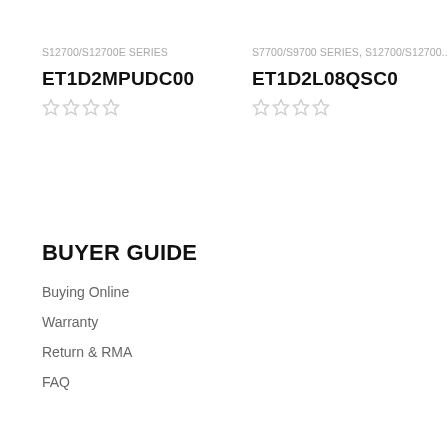S12700/S12700E SERIES
ET1D2MPUDC00
S7700/S9700 SERIES, S12700/S12700...
ET1D2L08QSC0
BUYER GUIDE
Buying Online
Warranty
Return & RMA
FAQ